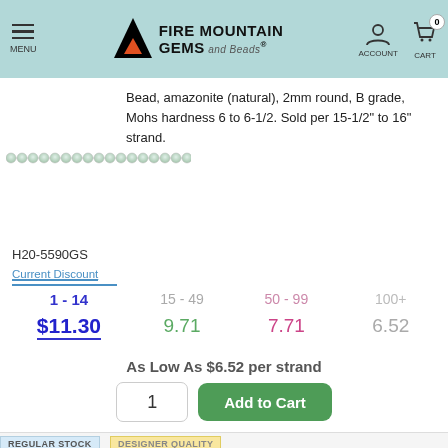Fire Mountain Gems and Beads — MENU | ACCOUNT | CART (0)
Bead, amazonite (natural), 2mm round, B grade, Mohs hardness 6 to 6-1/2. Sold per 15-1/2" to 16" strand.
H20-5590GS
| Current Discount / 1 - 14 | 15 - 49 | 50 - 99 | 100+ |
| --- | --- | --- | --- |
| $11.30 | 9.71 | 7.71 | 6.52 |
As Low As $6.52 per strand
REGULAR STOCK
DESIGNER QUALITY
IN STOCK
Bead, amazonite (natural), 6mm B grade, Mohs hardness 6 to 6-1/2. Sold per 15-1/2" to 16" strand.